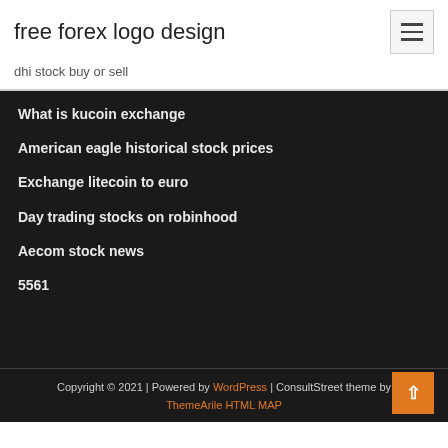free forex logo design
dhi stock buy or sell
What is kucoin exchange
American eagle historical stock prices
Exchange litecoin to euro
Day trading stocks on robinhood
Aecom stock news
5561
Copyright © 2021 | Powered by WordPress | ConsultStreet theme by ThemeArile HTML MAP